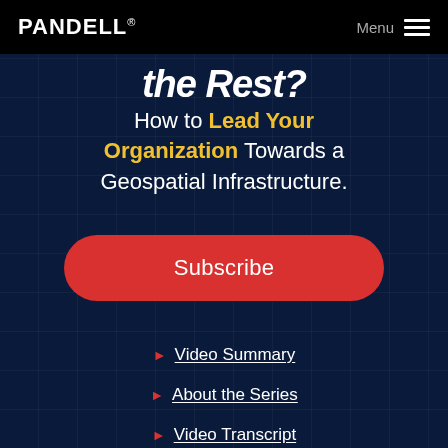PANDELL  Menu
the Rest?
How to Lead Your Organization Towards a Geospatial Infrastructure.
Subscribe
Video Summary
About the Series
Video Transcript